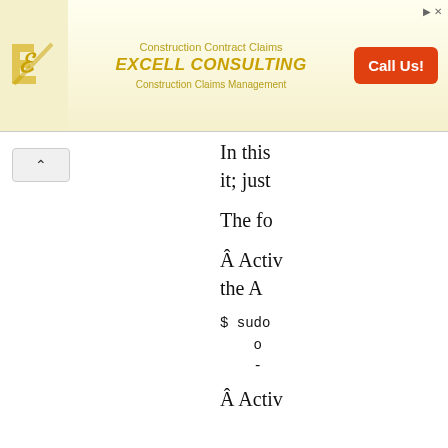[Figure (other): Advertisement banner for Excell Consulting - Construction Contract Claims and Construction Claims Management, with Call Us! button]
In this it; just
The fo
Â Activ the A
$ sudo o -
Â Activ gran Age
$ sudo o